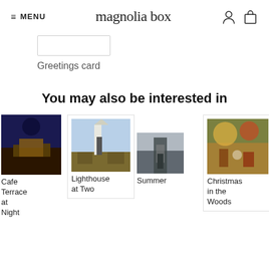≡ MENU  magnolia box
[Figure (illustration): Partial greetings card image placeholder, white rectangle with border]
Greetings card
You may also be interested in
[Figure (photo): Cafe Terrace at Night artwork thumbnail - Van Gogh painting with night cafe scene]
Cafe Terrace at Night
[Figure (photo): Lighthouse at Two Lights artwork thumbnail - Hopper painting with lighthouse]
Lighthouse at Two
[Figure (photo): Summer artwork thumbnail - dark doorway scene]
Summer
[Figure (photo): Christmas in the Woods artwork thumbnail - festive colorful illustration]
Christmas in the Woods